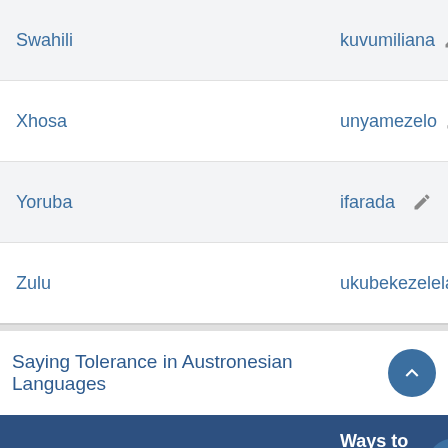| Language | Ways to say tolerance |
| --- | --- |
| Swahili | kuvumiliana |
| Xhosa | unyamezelo |
| Yoruba | ifarada |
| Zulu | ukubekezelelana |
Saying Tolerance in Austronesian Languages
| Language | Ways to say tolerance |
| --- | --- |
| Cebuano | tolerance |